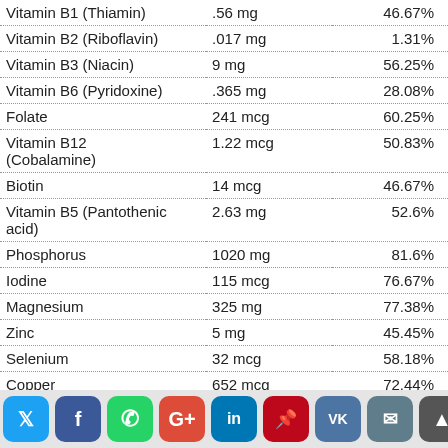| Nutrient | Amount | % Daily Value |
| --- | --- | --- |
| Vitamin B1 (Thiamin) | .56 mg | 46.67% |
| Vitamin B2 (Riboflavin) | .017 mg | 1.31% |
| Vitamin B3 (Niacin) | 9 mg | 56.25% |
| Vitamin B6 (Pyridoxine) | .365 mg | 28.08% |
| Folate | 241 mcg | 60.25% |
| Vitamin B12 (Cobalamine) | 1.22 mcg | 50.83% |
| Biotin | 14 mcg | 46.67% |
| Vitamin B5 (Pantothenic acid) | 2.63 mg | 52.6% |
| Phosphorus | 1020 mg | 81.6% |
| Iodine | 115 mcg | 76.67% |
| Magnesium | 325 mg | 77.38% |
| Zinc | 5 mg | 45.45% |
| Selenium | 32 mcg | 58.18% |
| Copper | 652 mcg | 72.44% |
| Manganese | 1.26 mg | 54.78% |
| Chromium | 15 mcg | 42.86% |
| Molybdenum | 32 mcg | 71.11% |